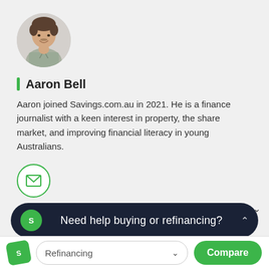[Figure (photo): Circular avatar photo of Aaron Bell, a young man in a light grey/plaid shirt, smiling, against a white background.]
Aaron Bell
Aaron joined Savings.com.au in 2021. He is a finance journalist with a keen interest in property, the share market, and improving financial literacy in young Australians.
[Figure (illustration): Green circle border icon with a green envelope/email symbol inside.]
Need help buying or refinancing?
Refinancing
Compare